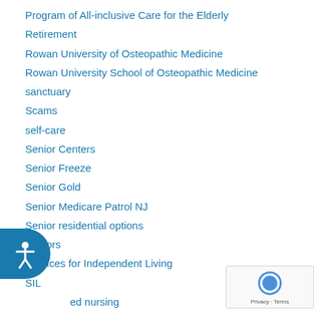Program of All-inclusive Care for the Elderly
Retirement
Rowan University of Osteopathic Medicine
Rowan University School of Osteopathic Medicine
sanctuary
Scams
self-care
Senior Centers
Senior Freeze
Senior Gold
Senior Medicare Patrol NJ
Senior residential options
Seniors
Services for Independent Living
SIL
skilled nursing
sneakers
Social Emotional Learning